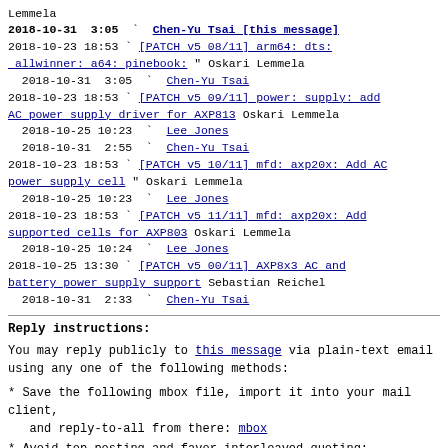Lemmela
2018-10-31 3:05 ` Chen-Yu Tsai [this message]
2018-10-23 18:53 ` [PATCH v5 08/11] arm64: dts: allwinner: a64: pinebook: " Oskari Lemmela
2018-10-31 3:05 ` Chen-Yu Tsai
2018-10-23 18:53 ` [PATCH v5 09/11] power: supply: add AC power supply driver for AXP813 Oskari Lemmela
2018-10-25 10:23 ` Lee Jones
2018-10-31 2:55 ` Chen-Yu Tsai
2018-10-23 18:53 ` [PATCH v5 10/11] mfd: axp20x: Add AC power supply cell " Oskari Lemmela
2018-10-25 10:23 ` Lee Jones
2018-10-23 18:53 ` [PATCH v5 11/11] mfd: axp20x: Add supported cells for AXP803 Oskari Lemmela
2018-10-25 10:24 ` Lee Jones
2018-10-25 13:30 ` [PATCH v5 00/11] AXP8x3 AC and battery power supply support Sebastian Reichel
2018-10-31 2:33 ` Chen-Yu Tsai
Reply instructions:
You may reply publicly to this message via plain-text email
using any one of the following methods:
* Save the following mbox file, import it into your mail client,
    and reply-to-all from there: mbox
* Avoid top-posting and favor interleaved quoting: